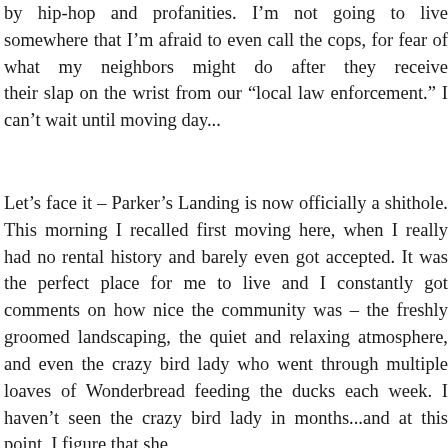by hip-hop and profanities. I'm not going to live somewhere that I'm afraid to even call the cops, for fear of what my neighbors might do after they receive their slap on the wrist from our “local law enforcement.” I can't wait until moving day...
Let’s face it – Parker’s Landing is now officially a shithole. This morning I recalled first moving here, when I really had no rental history and barely even got accepted. It was the perfect place for me to live and I constantly got comments on how nice the community was – the freshly groomed landscaping, the quiet and relaxing atmosphere, and even the crazy bird lady who went through multiple loaves of Wonderbread feeding the ducks each week. I haven’t seen the crazy bird lady in months...and at this point, I figure that she